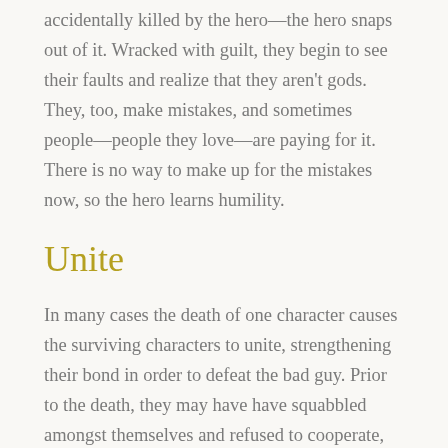accidentally killed by the hero—the hero snaps out of it. Wracked with guilt, they begin to see their faults and realize that they aren't gods. They, too, make mistakes, and sometimes people—people they love—are paying for it. There is no way to make up for the mistakes now, so the hero learns humility.
Unite
In many cases the death of one character causes the surviving characters to unite, strengthening their bond in order to defeat the bad guy. Prior to the death, they may have have squabbled amongst themselves and refused to cooperate, but after the death of a character that they are all friends with, they realize that they must join together to take down the